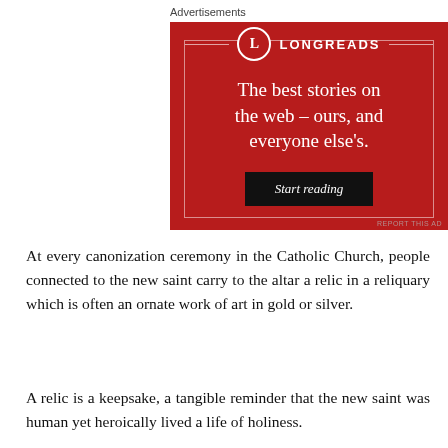Advertisements
[Figure (illustration): Longreads advertisement on a dark red background. Features the Longreads logo (circle with letter L) and brand name, the tagline 'The best stories on the web – ours, and everyone else's.' and a black 'Start reading' button.]
At every canonization ceremony in the Catholic Church, people connected to the new saint carry to the altar a relic in a reliquary which is often an ornate work of art in gold or silver.
A relic is a keepsake, a tangible reminder that the new saint was human yet heroically lived a life of holiness.